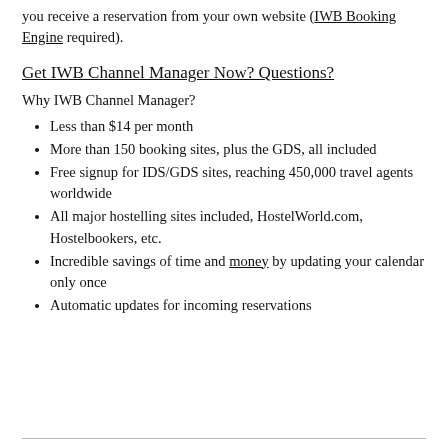you receive a reservation from your own website (IWB Booking Engine required).
Get IWB Channel Manager Now? Questions?
Why IWB Channel Manager?
Less than $14 per month
More than 150 booking sites, plus the GDS, all included
Free signup for IDS/GDS sites, reaching 450,000 travel agents worldwide
All major hostelling sites included, HostelWorld.com, Hostelbookers, etc.
Incredible savings of time and money by updating your calendar only once
Automatic updates for incoming reservations